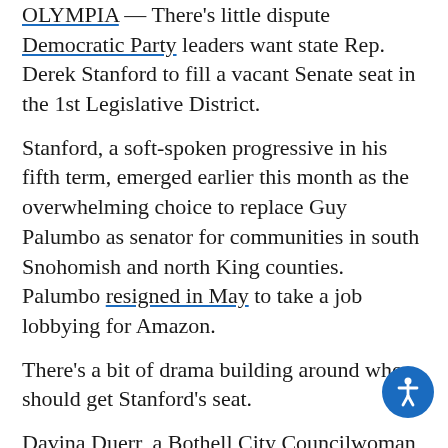OLYMPIA — There's little dispute Democratic Party leaders want state Rep. Derek Stanford to fill a vacant Senate seat in the 1st Legislative District.
Stanford, a soft-spoken progressive in his fifth term, emerged earlier this month as the overwhelming choice to replace Guy Palumbo as senator for communities in south Snohomish and north King counties. Palumbo resigned in May to take a job lobbying for Amazon.
There's a bit of drama building around who should get Stanford's seat.
Davina Duerr, a Bothell City Councilwoman, Hillary Moralez, the chairwoman of the Snohomish County Democratic Party, and Darshan Rauniyar, a party activist are the nominees put forth by the party precinct committee officers (PCOs) following a June...